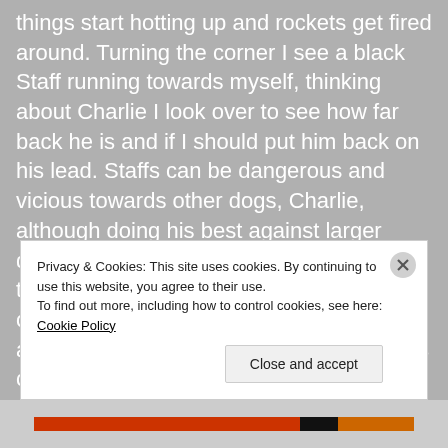things start hotting up and rockets get fired around. Turning the corner I see a black Staff running towards myself, thinking about Charlie I look over to see how far back he is and if I should put him back on his lead. Staffs can be dangerous and vicious towards other dogs, Charlie, although doing his best against larger dogs; ultimately amounting to a fur-lined toy-dog. It's okay, though, the other pet owner shouts his dog as he walks down another path. The Staff follows his owner's commands obediently, no desire to start a fight, I
Privacy & Cookies: This site uses cookies. By continuing to use this website, you agree to their use.
To find out more, including how to control cookies, see here: Cookie Policy